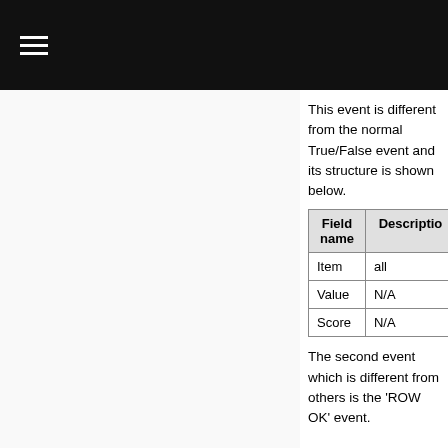≡
This event is different from the normal True/False event and its structure is shown below.
| Field name | Description |
| --- | --- |
| Item | all |
| Value | N/A |
| Score | N/A |
The second event which is different from others is the 'ROW OK' event.